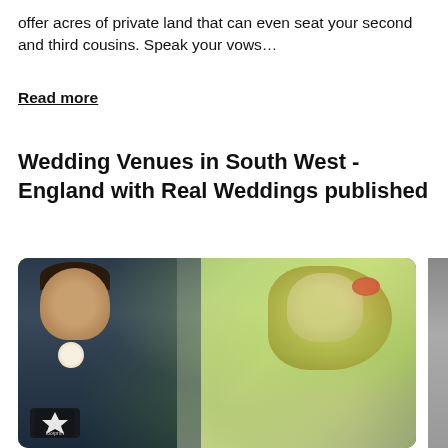offer acres of private land that can even seat your second and third cousins. Speak your vows…
Read more
Wedding Venues in South West - England with Real Weddings published
[Figure (photo): Wedding photo of a couple outdoors. The groom in a dark teal suit with a boutonniere kisses the bride on her head, while the bride in a lace dress with flowers in her blonde wavy hair smiles. Green bokeh background. Small photographer watermark logo in bottom left corner.]